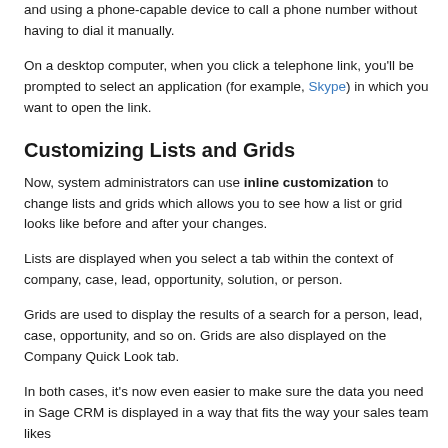and using a phone-capable device to call a phone number without having to dial it manually.
On a desktop computer, when you click a telephone link, you'll be prompted to select an application (for example, Skype) in which you want to open the link.
Customizing Lists and Grids
Now, system administrators can use inline customization to change lists and grids which allows you to see how a list or grid looks like before and after your changes.
Lists are displayed when you select a tab within the context of company, case, lead, opportunity, solution, or person.
Grids are used to display the results of a search for a person, lead, case, opportunity, and so on. Grids are also displayed on the Company Quick Look tab.
In both cases, it's now even easier to make sure the data you need in Sage CRM is displayed in a way that fits the way your sales team likes